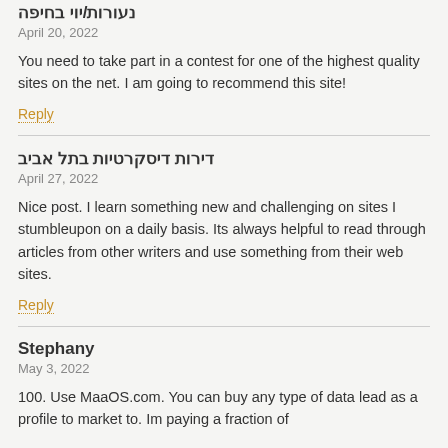נעורות/יוי בחיפה
April 20, 2022
You need to take part in a contest for one of the highest quality sites on the net. I am going to recommend this site!
Reply
דירות דיסקרטיות בתל אביב
April 27, 2022
Nice post. I learn something new and challenging on sites I stumbleupon on a daily basis. Its always helpful to read through articles from other writers and use something from their web sites.
Reply
Stephany
May 3, 2022
100. Use MaaOS.com. You can buy any type of data lead as a profile to market to. Im paying a fraction of